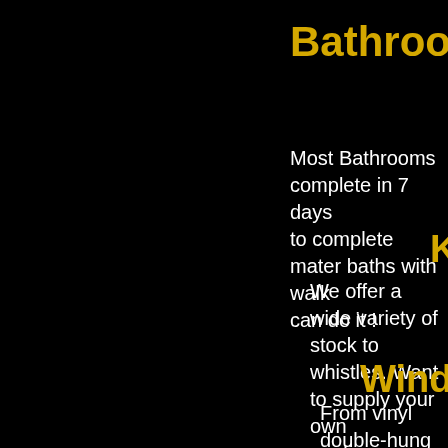Bathrooms
Most Bathrooms complete in 7 days to complete mater baths with walk can do it !
K
We offer a wide variety of stock to whistles. Want to supply your own appliances we work with you step b
Windows/D
From vinyl double-hung with E-Glas Hess offers a wide variety of sizes initially come to installation b